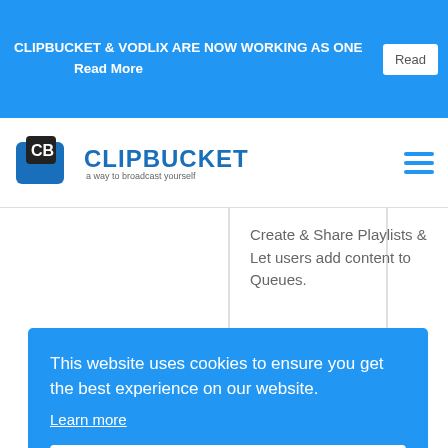CLIPBUCKET & VODLIX ARE NOW WORKING AS ONE Read More
[Figure (logo): ClipBucket logo with CB icon and tagline 'a way to broadcast yourself']
Create & Share Playlists & Let users add content to Queues.
This website uses cookies to ensure you get the best experience on our website.
Learn more
Got it!